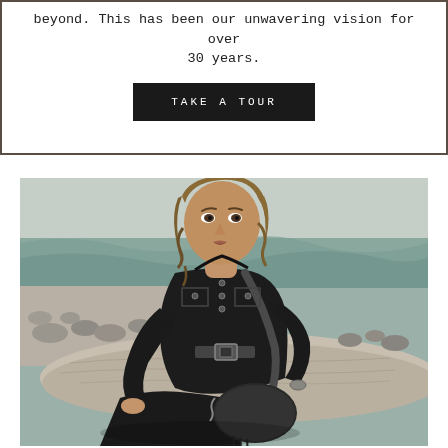beyond. This has been our unwavering vision for over 30 years.
TAKE A TOUR
[Figure (photo): A woman with wavy blonde-brown hair wearing all black outfit with a black leather crossbody bag, sitting on driftwood at a rocky beach with ocean waves in the background.]